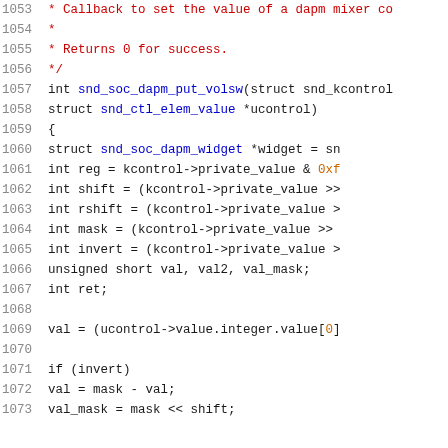[Figure (screenshot): Source code listing (C language) showing lines 1053-1073 of a kernel audio driver function snd_soc_dapm_put_volsw. Lines include comment block, function signature, and local variable declarations and assignments.]